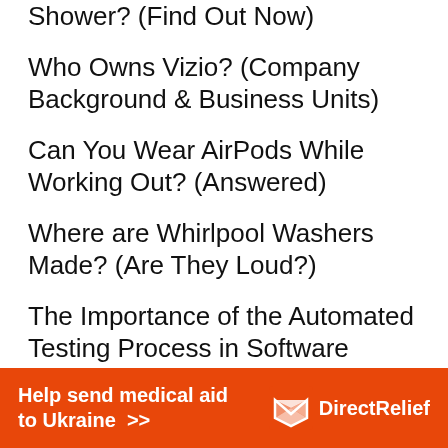Shower? (Find Out Now)
Who Owns Vizio? (Company Background & Business Units)
Can You Wear AirPods While Working Out? (Answered)
Where are Whirlpool Washers Made? (Are They Loud?)
The Importance of the Automated Testing Process in Software Development
6 PRO Tips Nobody Tells You In Call of
[Figure (infographic): Orange advertisement banner: 'Help send medical aid to Ukraine >>' with Direct Relief logo on the right]